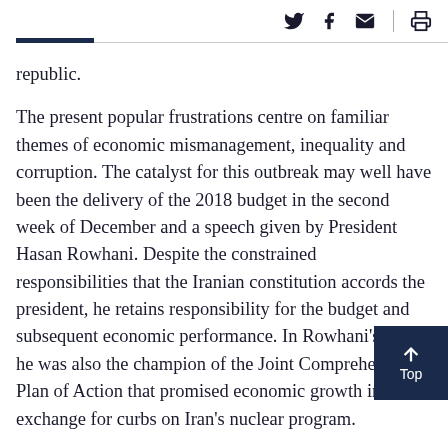[Social share icons: Twitter, Facebook, Email | Print]
republic.
The present popular frustrations centre on familiar themes of economic mismanagement, inequality and corruption. The catalyst for this outbreak may well have been the delivery of the 2018 budget in the second week of December and a speech given by President Hasan Rowhani. Despite the constrained responsibilities that the Iranian constitution accords the president, he retains responsibility for the budget and subsequent economic performance. In Rowhani’s case he was also the champion of the Joint Comprehensive Plan of Action that promised economic growth in exchange for curbs on Iran’s nuclear program.
This makes him doubly the target of his conservative political rivals. He is vulnerable to accusations of over-